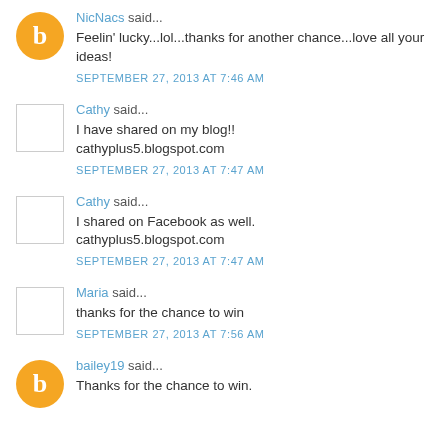NicNacs said...
Feelin' lucky...lol...thanks for another chance...love all your ideas!
SEPTEMBER 27, 2013 AT 7:46 AM
Cathy said...
I have shared on my blog!!
cathyplus5.blogspot.com
SEPTEMBER 27, 2013 AT 7:47 AM
Cathy said...
I shared on Facebook as well.
cathyplus5.blogspot.com
SEPTEMBER 27, 2013 AT 7:47 AM
Maria said...
thanks for the chance to win
SEPTEMBER 27, 2013 AT 7:56 AM
bailey19 said...
Thanks for the chance to win.